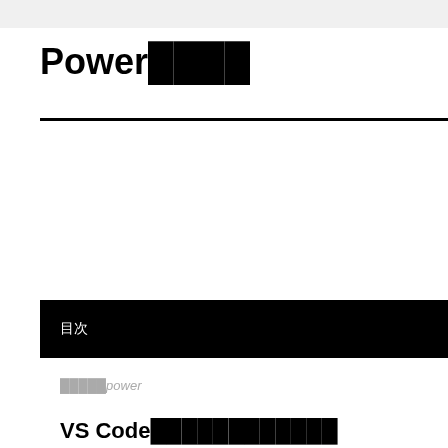Power████
目次
█████power
VS Code████████████